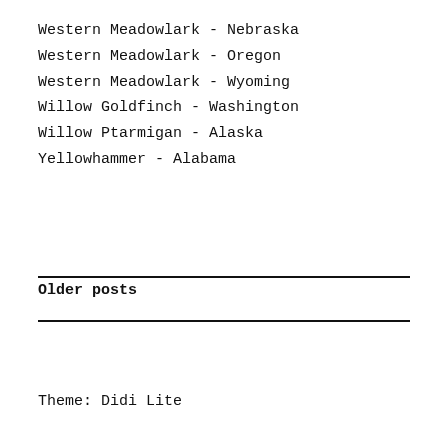Western Meadowlark - Nebraska
Western Meadowlark - Oregon
Western Meadowlark - Wyoming
Willow Goldfinch - Washington
Willow Ptarmigan - Alaska
Yellowhammer - Alabama
Older posts
Theme: Didi Lite